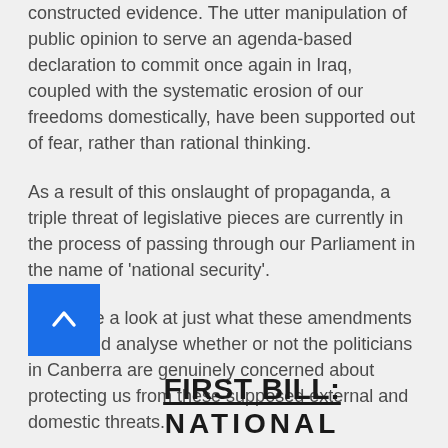constructed evidence. The utter manipulation of public opinion to serve an agenda-based declaration to commit once again in Iraq, coupled with the systematic erosion of our freedoms domestically, have been supported out of fear, rather than rational thinking.
As a result of this onslaught of propaganda, a triple threat of legislative pieces are currently in the process of passing through our Parliament in the name of 'national security'.
Let's take a look at just what these amendments entail, and analyse whether or not the politicians in Canberra are genuinely concerned about protecting us from these supposed external and domestic threats.
FIRST BILL: NATIONAL